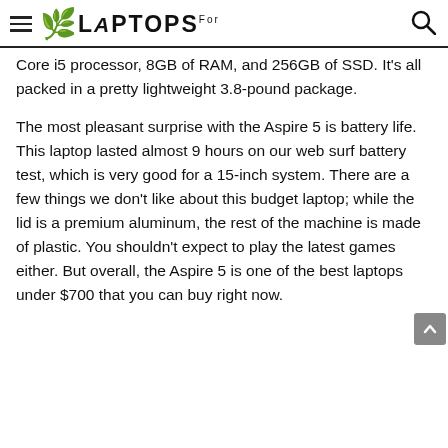LAPTOPSFor
Core i5 processor, 8GB of RAM, and 256GB of SSD. It’s all packed in a pretty lightweight 3.8-pound package.
The most pleasant surprise with the Aspire 5 is battery life. This laptop lasted almost 9 hours on our web surf battery test, which is very good for a 15-inch system. There are a few things we don’t like about this budget laptop; while the lid is a premium aluminum, the rest of the machine is made of plastic. You shouldn’t expect to play the latest games either. But overall, the Aspire 5 is one of the best laptops under $700 that you can buy right now.